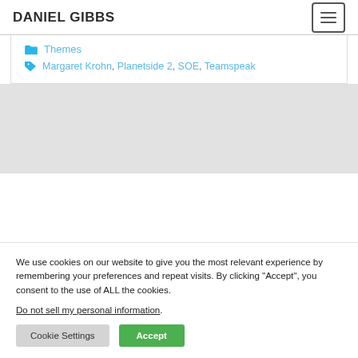DANIEL GIBBS
Themes
Margaret Krohn, Planetside 2, SOE, Teamspeak
We use cookies on our website to give you the most relevant experience by remembering your preferences and repeat visits. By clicking “Accept”, you consent to the use of ALL the cookies. Do not sell my personal information.
Cookie Settings | Accept